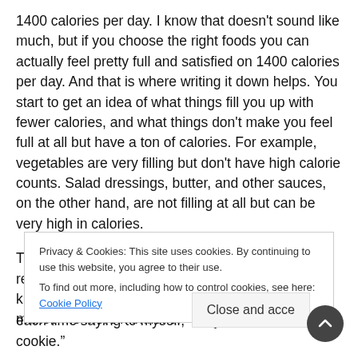1400 calories per day. I know that doesn't sound like much, but if you choose the right foods you can actually feel pretty full and satisfied on 1400 calories per day. And that is where writing it down helps. You start to get an idea of what things fill you up with fewer calories, and what things don't make you feel full at all but have a ton of calories. For example, vegetables are very filling but don't have high calorie counts. Salad dressings, butter, and other sauces, on the other hand, are not filling at all but can be very high in calories.
The other benefit of writing things down is I have to really think about whether I want to eat something, knowing it will be recorded in my food journal. It makes me more mindful of
Privacy & Cookies: This site uses cookies. By continuing to use this website, you agree to their use.
To find out more, including how to control cookies, see here: Cookie Policy
each time saying to myself, "It's just one little cookie."